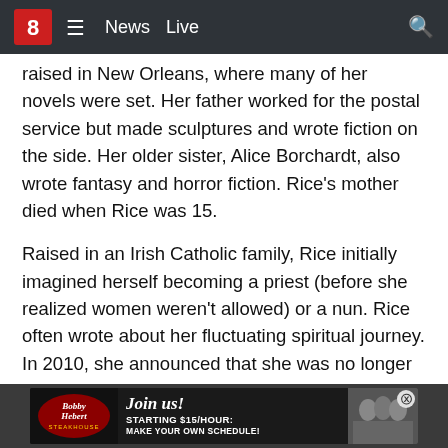News  Live
raised in New Orleans, where many of her novels were set. Her father worked for the postal service but made sculptures and wrote fiction on the side. Her older sister, Alice Borchardt, also wrote fantasy and horror fiction. Rice’s mother died when Rice was 15.
Raised in an Irish Catholic family, Rice initially imagined herself becoming a priest (before she realized women weren’t allowed) or a nun. Rice often wrote about her fluctuating spiritual journey. In 2010, she announced that she was no longer Christian, saying “I refuse to be anti-gay. I refuse to be anti-feminist. I refuse to be anti-artificial birth control.”
[Figure (other): Advertisement banner: Bobby Hebert restaurant logo on left, 'Join us! Starting $15/hour Make your own schedule!' text in center, group photo on right. Close button (X) in top right corner.]